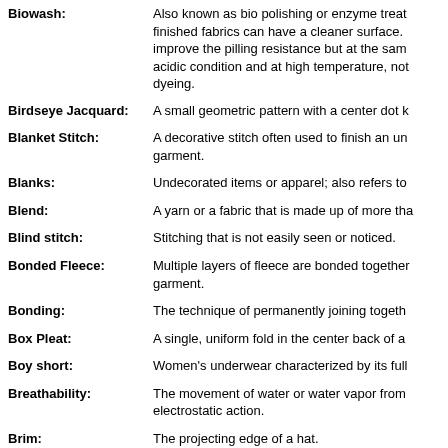Biowash: Also known as bio polishing or enzyme treatment, finished fabrics can have a cleaner surface. improve the pilling resistance but at the same acidic condition and at high temperature, not dyeing.
Birdseye Jacquard: A small geometric pattern with a center dot k
Blanket Stitch: A decorative stitch often used to finish an un garment.
Blanks: Undecorated items or apparel; also refers to
Blend: A yarn or a fabric that is made up of more tha
Blind stitch: Stitching that is not easily seen or noticed.
Bonded Fleece: Multiple layers of fleece are bonded together garment.
Bonding: The technique of permanently joining togeth
Box Pleat: A single, uniform fold in the center back of a
Boy short: Women's underwear characterized by its full
Breathability: The movement of water or water vapor from electrostatic action.
Brim: The projecting edge of a hat.